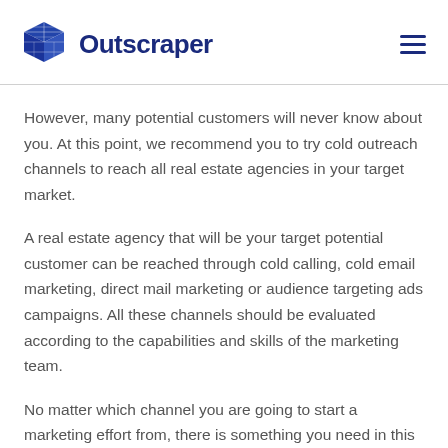Outscraper
However, many potential customers will never know about you. At this point, we recommend you to try cold outreach channels to reach all real estate agencies in your target market.
A real estate agency that will be your target potential customer can be reached through cold calling, cold email marketing, direct mail marketing or audience targeting ads campaigns. All these channels should be evaluated according to the capabilities and skills of the marketing team.
No matter which channel you are going to start a marketing effort from, there is something you need in this scenario. It is list and contact data of real estate